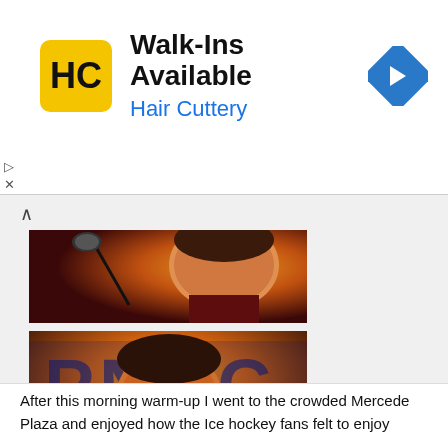[Figure (photo): Hair Cuttery advertisement banner with logo, 'Walk-Ins Available' headline, and navigation arrow icon]
[Figure (photo): Close-up side profile of a man singing into a microphone under warm amber stage lighting, wearing a plaid shirt]
[Figure (photo): Front-facing photo of a man singing into a microphone with eyes closed, warm stage lighting, 'PNDC' text banner in background, wearing a plaid shirt]
After this morning warm-up I went to the crowded Mercedes Plaza and enjoyed how the Ice hockey fans felt to enjoy